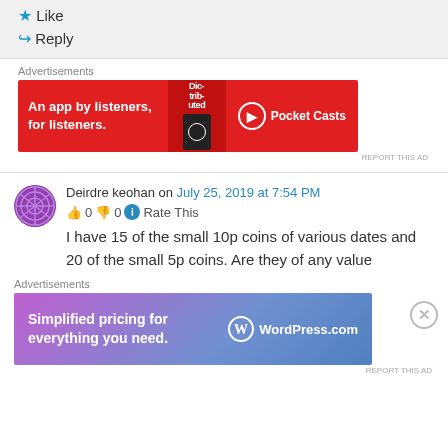★ Like
↪ Reply
Advertisements
[Figure (screenshot): Pocket Casts advertisement banner: red background, text 'An app by listeners, for listeners.' with phone image and Pocket Casts logo]
REPORT THIS AD
Deirdre keohan on July 25, 2019 at 7:54 PM
👍 0 👎 0 ℹ Rate This
I have 15 of the small 10p coins of various dates and 20 of the small 5p coins. Are they of any value
Advertisements
[Figure (screenshot): WordPress.com advertisement banner: purple-blue gradient background, text 'Simplified pricing for everything you need.' with WordPress.com logo]